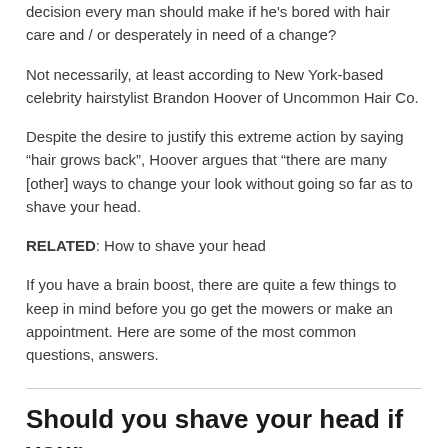decision every man should make if he's bored with hair care and / or desperately in need of a change?
Not necessarily, at least according to New York-based celebrity hairstylist Brandon Hoover of Uncommon Hair Co.
Despite the desire to justify this extreme action by saying “hair grows back”, Hoover argues that “there are many [other] ways to change your look without going so far as to shave your head.
RELATED: How to shave your head
If you have a brain boost, there are quite a few things to keep in mind before you go get the mowers or make an appointment. Here are some of the most common questions, answers.
Should you shave your head if your